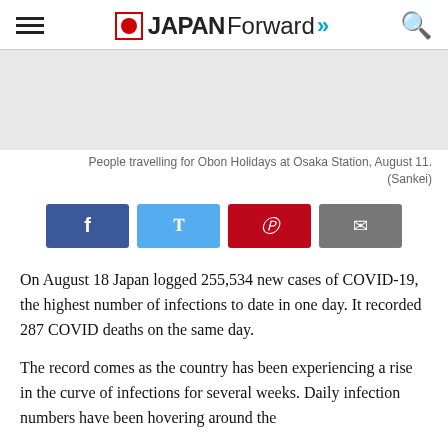JAPAN Forward
People travelling for Obon Holidays at Osaka Station, August 11. (Sankei)
On August 18 Japan logged 255,534 new cases of COVID-19, the highest number of infections to date in one day. It recorded 287 COVID deaths on the same day.
The record comes as the country has been experiencing a rise in the curve of infections for several weeks. Daily infection numbers have been hovering around the